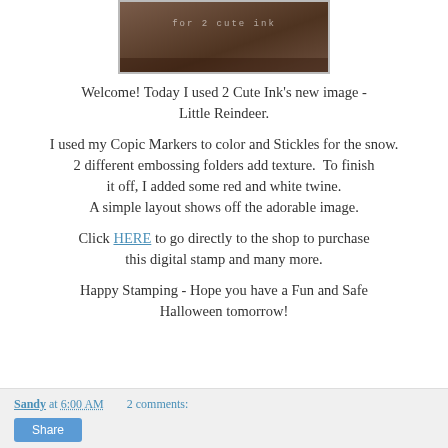[Figure (photo): Partial view of a crafted card image with dark brown border, showing text 'for 2 cute ink' in white lettering on a dark background]
Welcome! Today I used 2 Cute Ink's new image - Little Reindeer.
I used my Copic Markers to color and Stickles for the snow. 2 different embossing folders add texture. To finish it off, I added some red and white twine. A simple layout shows off the adorable image.
Click HERE to go directly to the shop to purchase this digital stamp and many more.
Happy Stamping - Hope you have a Fun and Safe Halloween tomorrow!
Sandy at 6:00 AM    2 comments: